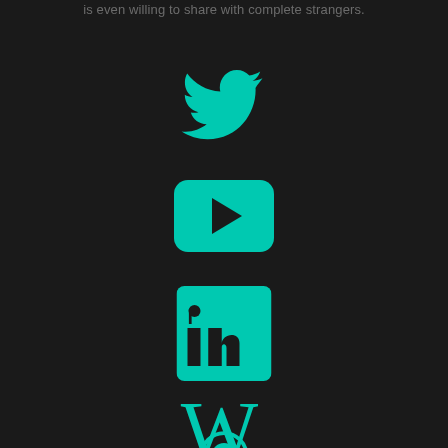is even willing to share with complete strangers.
[Figure (logo): Twitter bird logo in teal/turquoise color on dark background]
[Figure (logo): YouTube play button logo in teal/turquoise color on dark background]
[Figure (logo): LinkedIn 'in' logo in teal/turquoise color on dark background]
[Figure (logo): Wikipedia 'W' logo in teal/turquoise color on dark background]
[Figure (logo): Partially visible circular logo in teal/turquoise color at bottom of page]